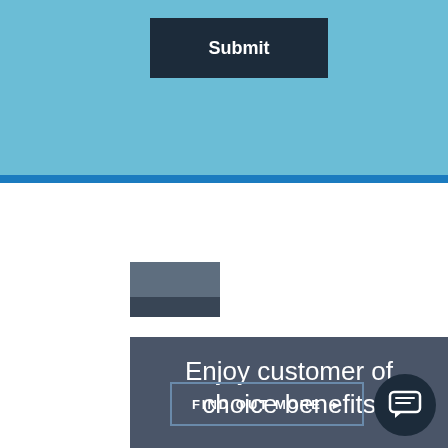[Figure (screenshot): Light blue form section with a dark navy Submit button]
[Figure (other): Small grey/dark grey stacked rectangle logo or placeholder image]
Enjoy customer of choice benefits
Find out what your key suppliers really think of you and how to become their customer of choice.
[Figure (other): FIND OUT MORE button at bottom of dark card]